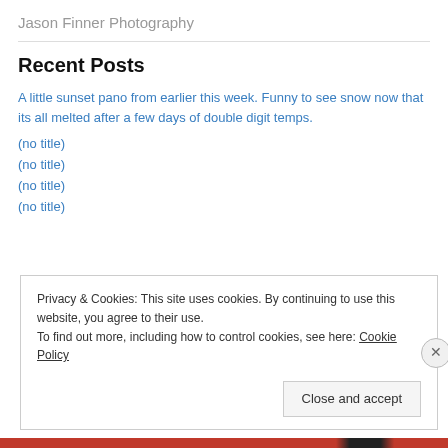Jason Finner Photography
Recent Posts
A little sunset pano from earlier this week. Funny to see snow now that its all melted after a few days of double digit temps.
(no title)
(no title)
(no title)
(no title)
Privacy & Cookies: This site uses cookies. By continuing to use this website, you agree to their use.
To find out more, including how to control cookies, see here: Cookie Policy
[Close and accept]